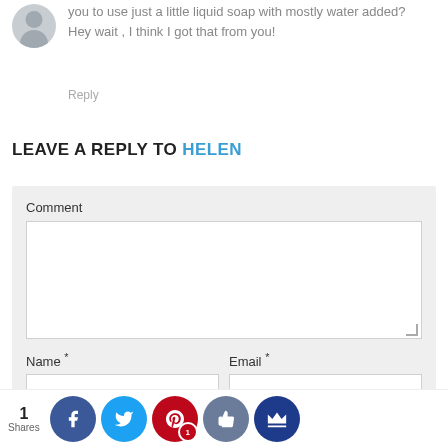Have you discovered foam hand soap dispenser which allows you to use just a little liquid soap with mostly water added? Hey wait , I think I got that from you!
Reply
LEAVE A REPLY TO HELEN
Comment
Name *
Email *
Website
1 Shares